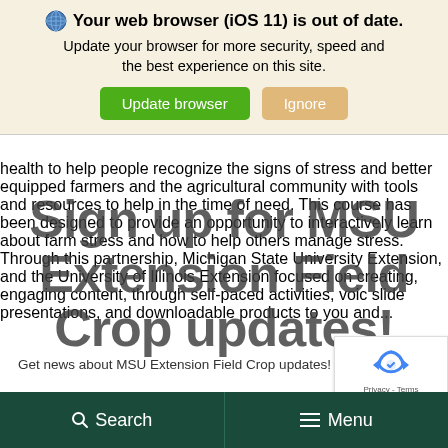[Figure (screenshot): Browser update notification banner with globe icon, bold warning text, and two buttons: 'Update browser' (green) and 'Ignore' (orange/tan)]
health to help people recognize the signs of stress and better equipped farmers and the agricultural community with tools and resources to help in the time of need. This course has been designed to provide an opportunity to interactively learn about farm stress and how to help others manage stress. Through this partnership, Michigan State University Extension, and the University of Illinois Extension focused on creating, engaging content, through self-paced activities, voic slide presentations, and downloadable products to you and...
[Figure (screenshot): Overlay popup text reading 'Sign up for MSU Extension Field Crop updates!' in large bold dark gray letters overlaid on the article content]
Get news about MSU Extension Field Crop updates!
[Figure (screenshot): Google reCAPTCHA badge in bottom right corner showing the reCAPTCHA logo and 'Privacy - Terms' text]
Search   Menu